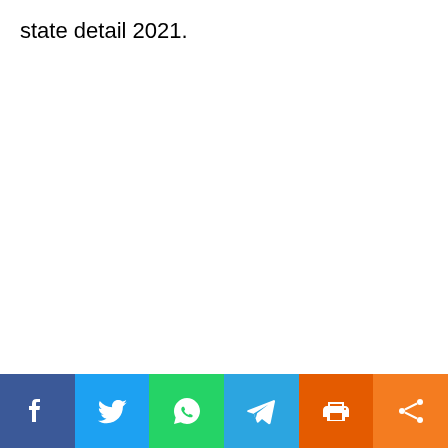state detail 2021.
[Figure (other): Social sharing toolbar with six buttons: Facebook (dark blue), Twitter (light blue), WhatsApp (green), Telegram (sky blue), Print (dark orange), Share (orange)]